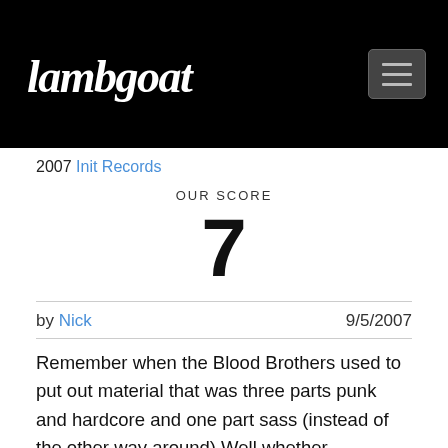Lambgoat
2007 Init Records
OUR SCORE
7
by Nick  9/5/2007
Remember when the Blood Brothers used to put out material that was three parts punk and hardcore and one part sass (instead of the other way around) Well whether Minneapolis' Building Better Bombs intended to do so or not, they've brought back this formula with their debut full-length, Freak Out Squares, a very